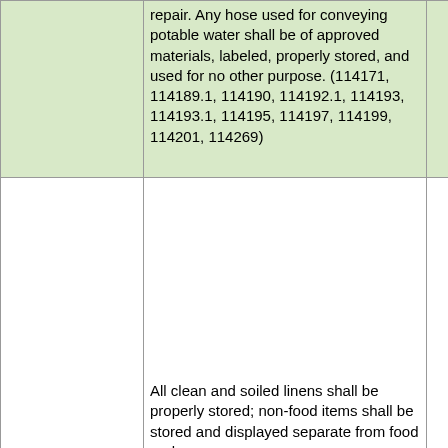|  | repair. Any hose used for conveying potable water shall be of approved materials, labeled, properly stored, and used for no other purpose. (114171, 114189.1, 114190, 114192.1, 114193, 114193.1, 114195, 114197, 114199, 114201, 114269) |  | contamina... clean, full... repair. |
|  | All clean and soiled linens shall be properly stored; non-food items shall be stored and displayed separate from food and... |  | Storage s... single-use... and food-... not be loc... refuse roo... under ope... on which... under lea... sewer line... to interce... under oth... contamina...

During pa... or dispen... and dispe... stored in ... ways:
(1) in a po... |